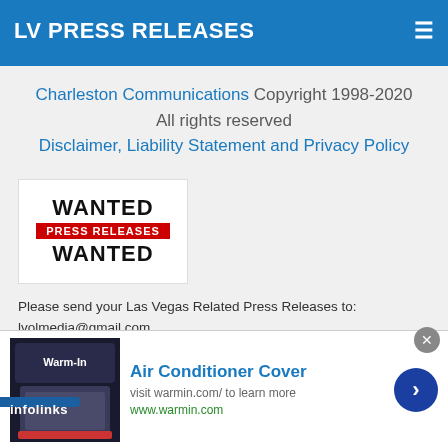LV PRESS RELEASES
Charleston Communications Copyright 1998-2020
All rights reserved
Disclaimer, Liability Statement and Privacy Policy
[Figure (illustration): WANTED PRESS RELEASES WANTED graphic in white box with red badge]
Please send your Las Vegas Related Press Releases to:
lvolmedia@gmail.com
Bootstrap is a front-end framework of Twitter, Inc. Code licensed under MIT License.
[Figure (infographic): Infolinks banner overlay and Air Conditioner Cover advertisement with Warm-In branding, visit warmin.com/ to learn more, www.warmin.com]